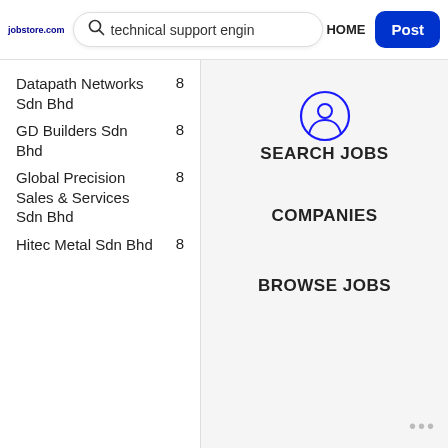jobstore.com - technical support engin - HOME - Post
Datapath Networks Sdn Bhd   8
GD Builders Sdn Bhd   8
Global Precision Sales & Services Sdn Bhd   8
Hitec Metal Sdn Bhd   8
SEARCH JOBS
COMPANIES
BROWSE JOBS